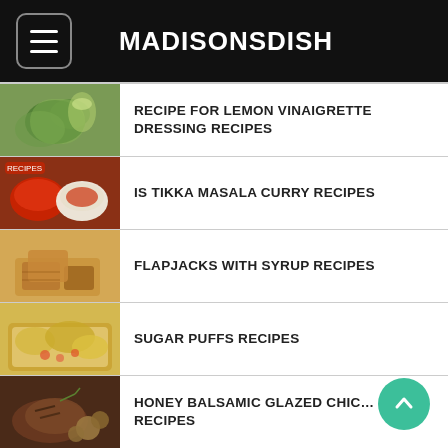MADISONSDISH
RECIPE FOR LEMON VINAIGRETTE DRESSING RECIPES
IS TIKKA MASALA CURRY RECIPES
FLAPJACKS WITH SYRUP RECIPES
SUGAR PUFFS RECIPES
HONEY BALSAMIC GLAZED CHICKEN RECIPES